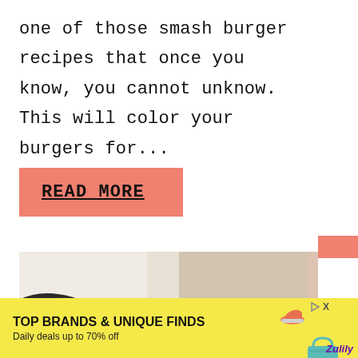one of those smash burger recipes that once you know, you cannot unknow.  This will color your burgers for...
READ MORE
[Figure (photo): Close-up photo of a person on a couch or sofa, showing legs and dark clothing, with a blurred background]
[Figure (infographic): Advertisement banner: TOP BRANDS & UNIQUE FINDS. Daily deals up to 70% off. Zulily brand with bag and shoe images.]